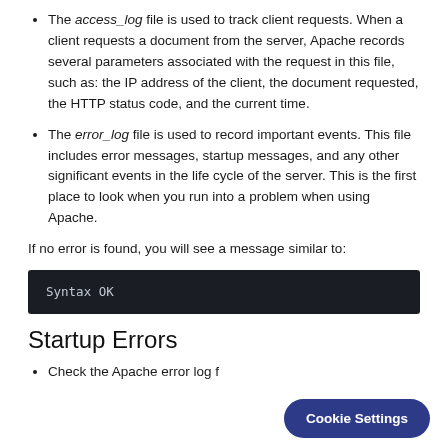The access_log file is used to track client requests. When a client requests a document from the server, Apache records several parameters associated with the request in this file, such as: the IP address of the client, the document requested, the HTTP status code, and the current time.
The error_log file is used to record important events. This file includes error messages, startup messages, and any other significant events in the life cycle of the server. This is the first place to look when you run into a problem when using Apache.
If no error is found, you will see a message similar to:
[Figure (screenshot): Dark terminal/code block showing: Syntax OK]
Startup Errors
Check the Apache error log f...